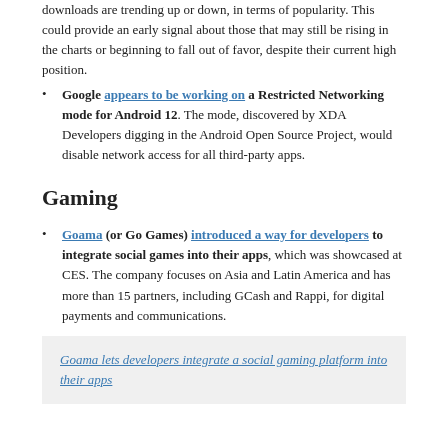downloads are trending up or down, in terms of popularity. This could provide an early signal about those that may still be rising in the charts or beginning to fall out of favor, despite their current high position.
Google appears to be working on a Restricted Networking mode for Android 12. The mode, discovered by XDA Developers digging in the Android Open Source Project, would disable network access for all third-party apps.
Gaming
Goama (or Go Games) introduced a way for developers to integrate social games into their apps, which was showcased at CES. The company focuses on Asia and Latin America and has more than 15 partners, including GCash and Rappi, for digital payments and communications.
Goama lets developers integrate a social gaming platform into their apps